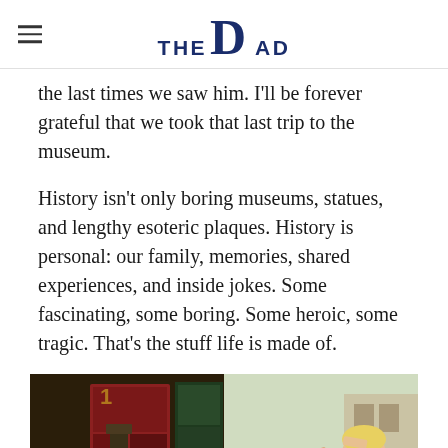THE DAD
the last times we saw him. I'll be forever grateful that we took that last trip to the museum.
History isn't only boring museums, statues, and lengthy esoteric plaques. History is personal: our family, memories, shared experiences, and inside jokes. Some fascinating, some boring. Some heroic, some tragic. That's the stuff life is made of.
[Figure (photo): Two side-by-side photos: left shows an older man pointing at a museum exhibit with children nearby in a dark exhibit hall; right shows two young children outdoors saluting with hands to foreheads, smiling.]